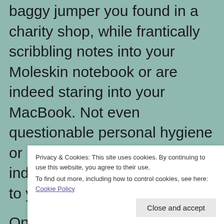baggy jumper you found in a charity shop, while frantically scribbling notes into your Moleskin notebook or are indeed staring into your MacBook. Not even questionable personal hygiene or unkempt hair are a safe indicator that the person next to you is a borderline genius.

On the other hand, real nerds are now heading to the gym to fight the pen pusher's wobbly t... p... a... supposed to tell them apart?
Privacy & Cookies: This site uses cookies. By continuing to use this website, you agree to their use.
To find out more, including how to control cookies, see here: Cookie Policy
Close and accept